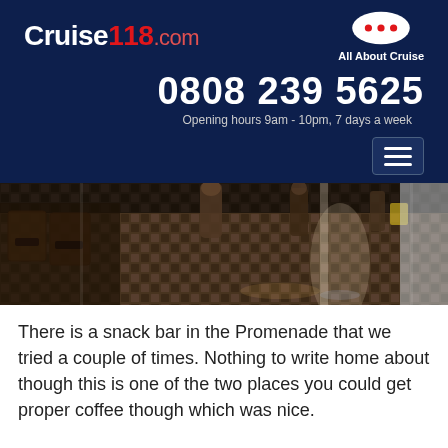Cruise118.com — All About Cruise | 0808 239 5625 | Opening hours 9am - 10pm, 7 days a week
[Figure (photo): Interior of a cruise ship promenade or cafe area showing tiled floor, wicker chairs, and people walking in the background]
There is a snack bar in the Promenade that we tried a couple of times. Nothing to write home about though this is one of the two places you could get proper coffee though which was nice.